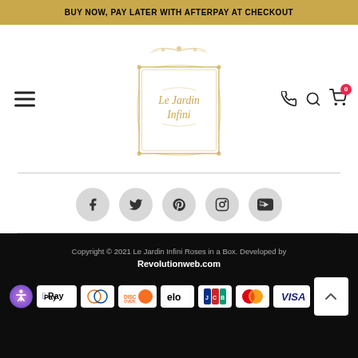BUY NOW, PAY LATER WITH AFTERPAY AT CHECKOUT
[Figure (logo): Le Jardin Infini decorative logo with golden filigree border frame and script text]
[Figure (infographic): Social media icons: Facebook, Twitter, Pinterest, Instagram, YouTube — round gray circles]
Copyright © 2021 Le Jardin Infini Roses in a Box. Developed by Revolutionweb.com
[Figure (infographic): Payment method icons: Accessibility, Apple Pay, Diners Club, Discover, Elo, JCB, Mastercard, Visa, Afterpay, scroll-to-top button]